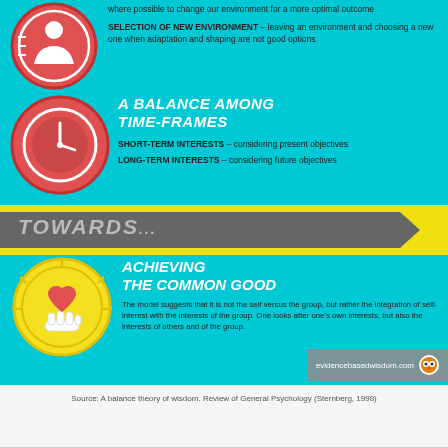[Figure (infographic): Infographic about wisdom model showing balance among time-frames and achieving the common good, with icons including a red circle with person, a red circle with clock, and a yellow circle with heart in hand. Grey arrow banner with 'TOWARDS...' text. Website badge for evidencebasedwisdom.com with owl logo.]
where possible to change our environment for a more optimal outcome
SELECTION OF NEW ENVIRONMENT – leaving an environment and choosing a new one when adaptation and shaping are not good options
A BALANCE AMONG TIME-FRAMES
SHORT-TERM INTERESTS – considering present objectives
LONG-TERM INTERESTS – considering future objectives
TOWARDS...
ACHIEVING THE COMMON GOOD
The model suggests that it is not the self versus the group, but rather the integration of self-interest with the interests of the group. One looks after one's own interests, but also the interests of others and of the group.
Source: A balance theory of wisdom. Review of General Psychology (Sternberg, 1998)